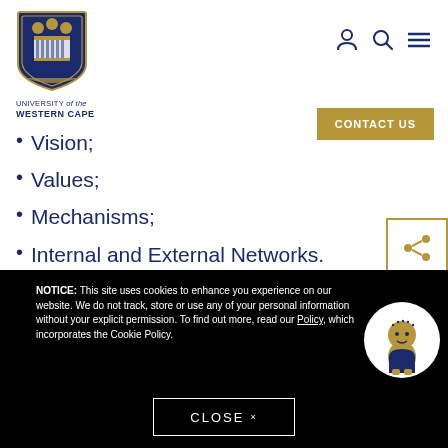[Figure (logo): University of the Western Cape shield logo with text 'UNIVERSITY of the WESTERN CAPE']
[Figure (other): Navigation icons: person, search, hamburger menu]
[Figure (other): Gold 'CONTACT US' button]
• Vision;
• Values;
• Mechanisms;
• Internal and External Networks.
[Figure (other): Share icon button with gold border]
NOTICE: This site uses cookies to enhance you experience on our website. We do not track, store or use any of your personal information without your explicit permission. To find out more, read our Policy, which incorporates the Cookie Policy.
[Figure (illustration): Mascot character in white circle - cartoon figure with blue outfit]
CLOSE ×